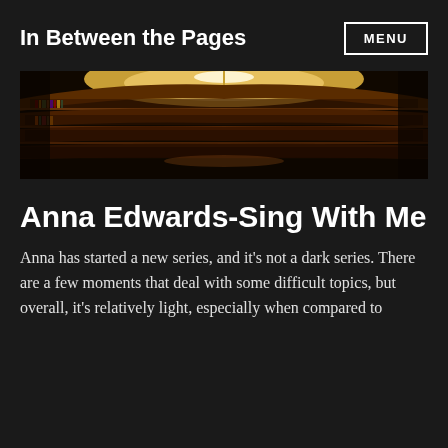In Between the Pages  MENU
[Figure (photo): Panoramic interior photo of a large circular library with multiple levels of bookshelves filled with books, warm amber lighting illuminating the curved wooden shelves.]
Anna Edwards-Sing With Me
Anna has started a new series, and it’s not a dark series. There are a few moments that deal with some difficult topics, but overall, it’s relatively light, especially when compared to